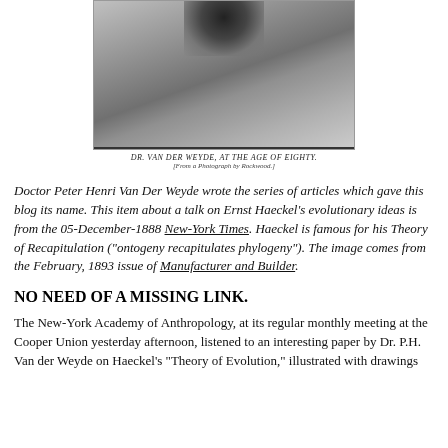[Figure (photo): Black and white photograph of Dr. Van Der Weyde at the age of eighty, showing upper body portrait with dark background.]
DR. VAN DER WEYDE, AT THE AGE OF EIGHTY.
[From a Photograph by Rockwood.]
Doctor Peter Henri Van Der Weyde wrote the series of articles which gave this blog its name. This item about a talk on Ernst Haeckel's evolutionary ideas is from the 05-December-1888 New-York Times. Haeckel is famous for his Theory of Recapitulation ("ontogeny recapitulates phylogeny"). The image comes from the February, 1893 issue of Manufacturer and Builder.
NO NEED OF A MISSING LINK.
The New-York Academy of Anthropology, at its regular monthly meeting at the Cooper Union yesterday afternoon, listened to an interesting paper by Dr. P.H. Van der Weyde on Haeckel's "Theory of Evolution," illustrated with drawings